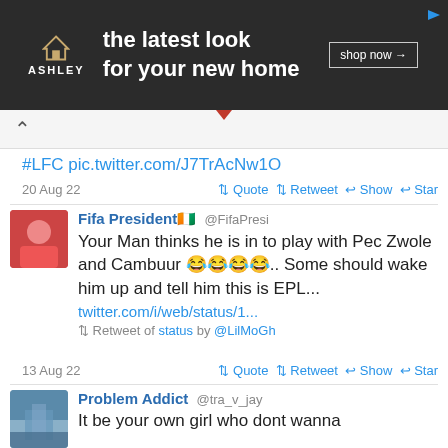[Figure (screenshot): Ashley Furniture ad banner: dark background, house icon logo, text 'the latest look for your new home', 'shop now' button]
#LFC pic.twitter.com/J7TrAcNw1O
20 Aug 22  ⇅ Quote ⇅ Retweet ↩ Show ↩ Star
Fifa President🇨🇮 @FifaPresi
Your Man thinks he is in to play with Pec Zwole and Cambuur 😂😂😂😂.. Some should wake him up and tell him this is EPL...
twitter.com/i/web/status/1...
⇅ Retweet of status by @LilMoGh
13 Aug 22  ⇅ Quote ⇅ Retweet ↩ Show ↩ Star
Problem Addict @tra_v_jay
It be your own girl who dont wanna